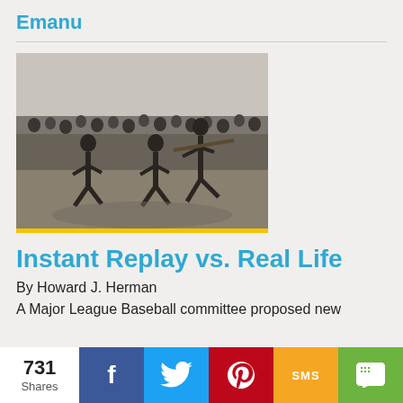Emanu
[Figure (photo): Vintage black and white photograph of a baseball game being played outdoors, with a batter swinging, a catcher crouching, and a large crowd of spectators watching in the background.]
Instant Replay vs. Real Life
By Howard J. Herman
A Major League Baseball committee proposed new
731 Shares  f  Twitter  Pinterest  SMS  Share